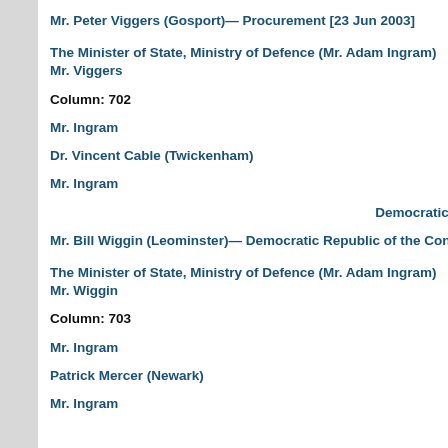Mr. Peter Viggers (Gosport)— Procurement [23 Jun 2003]
The Minister of State, Ministry of Defence (Mr. Adam Ingram)
Mr. Viggers
Column: 702
Mr. Ingram
Dr. Vincent Cable (Twickenham)
Mr. Ingram
Democratic Republic of the
Mr. Bill Wiggin (Leominster)— Democratic Republic of the Congo
The Minister of State, Ministry of Defence (Mr. Adam Ingram)
Mr. Wiggin
Column: 703
Mr. Ingram
Patrick Mercer (Newark)
Mr. Ingram
Wind Farms [23